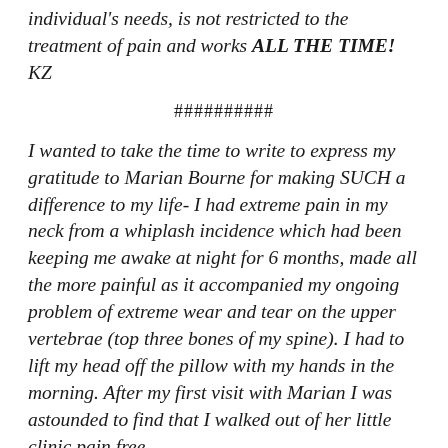individual's needs, is not restricted to the treatment of pain and works ALL THE TIME! KZ
##########
I wanted to take the time to write to express my gratitude to Marian Bourne for making SUCH a difference to my life- I had extreme pain in my neck from a whiplash incidence which had been keeping me awake at night for 6 months, made all the more painful as it accompanied my ongoing problem of extreme wear and tear on the upper vertebrae (top three bones of my spine). I had to lift my head off the pillow with my hands in the morning. After my first visit with Marian I was astounded to find that I walked out of her little clinic pain free.
I injured my neck again whilst trying to put together a